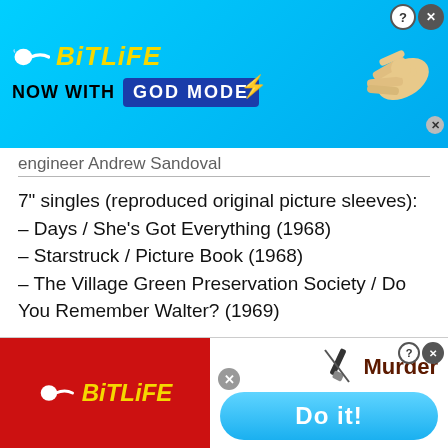[Figure (screenshot): BitLife 'NOW WITH GOD MODE' advertisement banner at top of page, blue background with yellow logo text and pointing hand graphic]
engineer Andrew Sandoval
7" singles (reproduced original picture sleeves):
– Days / She's Got Everything (1968)
– Starstruck / Picture Book (1968)
– The Village Green Preservation Society / Do You Remember Walter? (1969)
Book:
Deluxe, beautifully produced, 52-page hardback photo book with extensive sleeve notes and new band interviews, essays by Pete Townshend and other writers, plus rare and unseen Kinks Village
[Figure (screenshot): BitLife 'Murder / Do it!' advertisement banner at bottom of page, red background on left with yellow logo, white area on right with murder text and blue Do it! button]